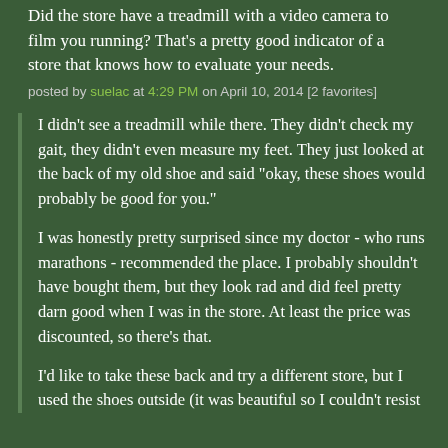Did the store have a treadmill with a video camera to film you running? That's a pretty good indicator of a store that knows how to evaluate your needs.
posted by suelac at 4:29 PM on April 10, 2014 [2 favorites]
I didn't see a treadmill while there. They didn't check my gait, they didn't even measure my feet. They just looked at the back of my old shoe and said "okay, these shoes would probably be good for you."
I was honestly pretty surprised since my doctor - who runs marathons - recommended the place. I probably shouldn't have bought them, but they look rad and did feel pretty darn good when I was in the store. At least the price was discounted, so there's that.
I'd like to take these back and try a different store, but I used the shoes outside (it was beautiful so I couldn't resist